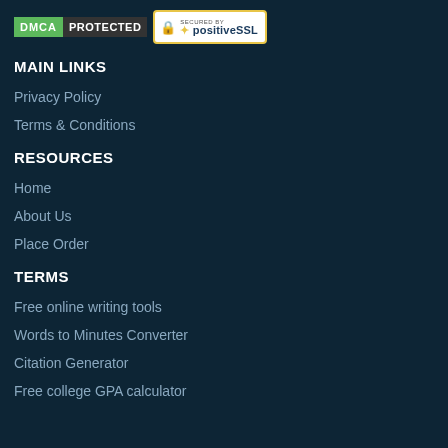[Figure (logo): DMCA Protected badge and Secured by PositiveSSL badge]
MAIN LINKS
Privacy Policy
Terms & Conditions
RESOURCES
Home
About Us
Place Order
TERMS
Free online writing tools
Words to Minutes Converter
Citation Generator
Free college GPA calculator